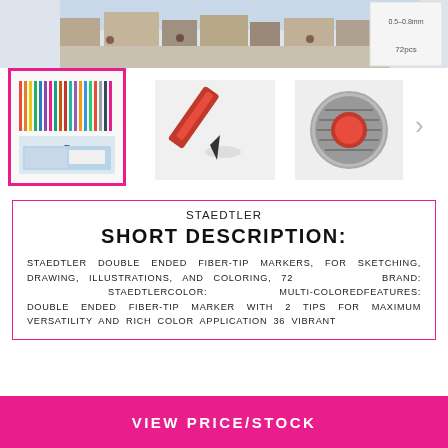[Figure (photo): Top strip showing a watercolor street scene artwork and packaging text '0.5-0.8mm' and '72pcs']
[Figure (photo): Selected thumbnail with pink border showing Staedtler 72-piece double ended fiber-tip markers set in packaging]
[Figure (photo): Close-up thumbnail of red marker tip angled]
[Figure (photo): Close-up thumbnail of red and silver marker cap end]
STAEDTLER
SHORT DESCRIPTION:
STAEDTLER DOUBLE ENDED FIBER-TIP MARKERS, FOR SKETCHING, DRAWING, ILLUSTRATIONS, AND COLORING, 72 BRAND: STAEDTLERCOLOR: MULTI-COLOREDFEATURES: DOUBLE ENDED FIBER-TIP MARKER WITH 2 TIPS FOR MAXIMUM VERSATILITY AND RICH COLOR APPLICATION 36 VIBRANT
VIEW PRICE/STOCK